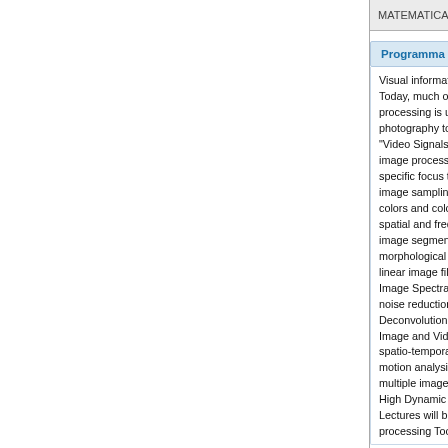| MATEMATICA |  |  |
| --- | --- | --- |
Programma dettagliato e risultati di apprendimento attesi
Visual information plays an important role in almost all areas of human activity. Today, much of this information is represented and processed digitally. Image processing is ubiquitous, with applications ranging from medical imaging, digital photography to printing, from robotics to remote sensing. "Video Signals" is a graduate-level introductory course on digital image and video image processing. It emphasizes general principles of image processing from a specific focus to practical applications. We expect to cover topics including: image sampling and quantization, colors and colorimetry, spatial and frequency operations, image segmentation, morphological image processing, linear image filtering and correlation, Image Spectral analysis based on Fourier transform, noise reduction and restoration, Deconvolution and blind deconvolution, Image and Video Compression, spatio-temporal sampling, motion analysis and tracking, multiple image stitching for panoramic images and video, High Dynamic Range Images. Lectures will be complemented by computer exercises using Matlab Image processing Toolbox.
Note Sulla Modalità di valutazione
The exam for the "video signals" module is a written test that must be solved in 2 hours. Two or three exercises require a numerical solution and the last one is a exercise requiring the definition of a matlab function that shall solve the question and will focus on exercises exposed during the labs. No code has to be written directly on the paper without a pc. The exam for the first module will take place only in the written form. No oral integrations or projects will be considered in order to...